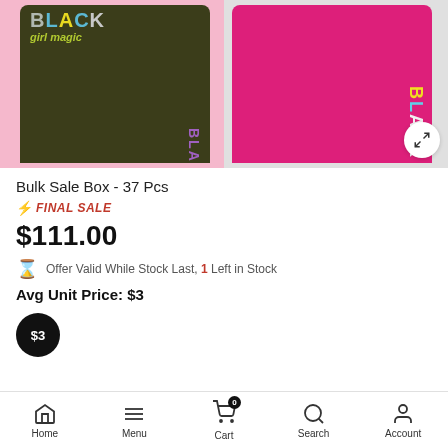[Figure (photo): Product photo showing two outfits: left - a dark olive 'BLACK girl magic' graphic t-shirt with fanny pack; right - hot pink 'BLACK' graphic bike shorts with handbag]
Bulk Sale Box - 37 Pcs
⚡ FINAL SALE
$111.00
Offer Valid While Stock Last, 1 Left in Stock
Avg Unit Price: $3
$3
Home  Menu  Cart  Search  Account